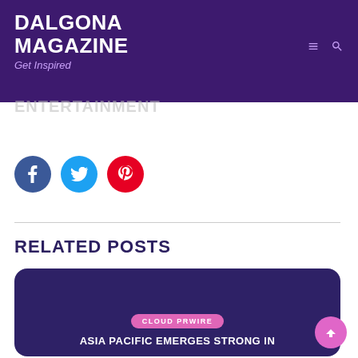DALGONA MAGAZINE – Get Inspired
[Figure (infographic): Social share buttons: Facebook (dark blue), Twitter (light blue), Pinterest (red)]
RELATED POSTS
[Figure (infographic): Related post card with dark purple background. Badge label: CLOUD PRWIRE. Title: ASIA PACIFIC EMERGES STRONG IN]
CLOUD PRWIRE
ASIA PACIFIC EMERGES STRONG IN